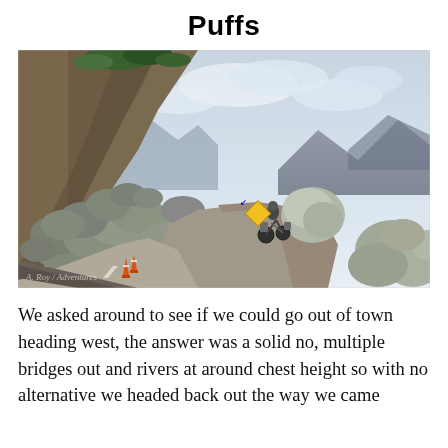Puffs
[Figure (photo): A motorcyclist riding on a narrow mountain road surrounded by large boulders from a rockslide. A steep rocky cliff face on the left, mountains in the background, and orange traffic cones/warning signs visible. The road curves into the distance under a cloudy sky.]
We asked around to see if we could go out of town heading west, the answer was a solid no, multiple bridges out and rivers at around chest height so with no alternative we headed back out the way we came